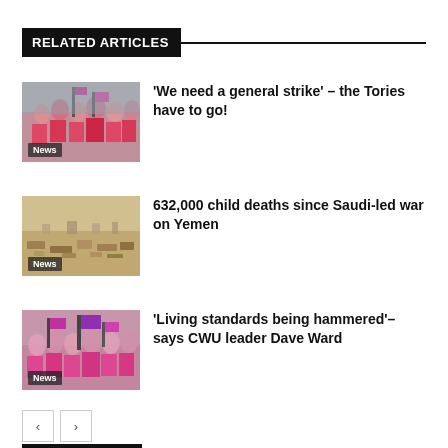RELATED ARTICLES
[Figure (photo): Group of people in pink/red vests at a protest or strike, with flags and signs. Badge reads 'News'.]
'We need a general strike' – the Tories have to go!
[Figure (photo): Arid desert landscape with scattered debris or rubble. Badge reads 'News'.]
632,000 child deaths since Saudi-led war on Yemen
[Figure (photo): Crowd of people holding pink/red CWU flags at a rally or march. Badge reads 'News'.]
'Living standards being hammered'– says CWU leader Dave Ward